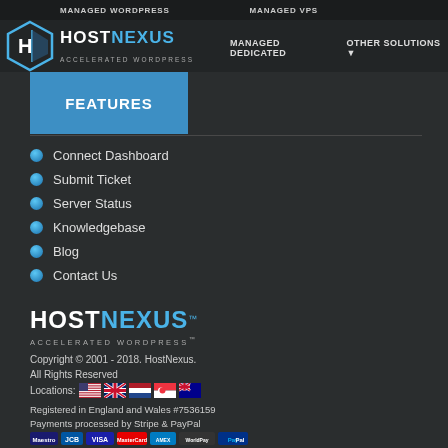MANAGED WORDPRESS   MANAGED VPS
[Figure (logo): HostNexus logo with shield icon and text HOST NEXUS ACCELERATED WORDPRESS]
MANAGED DEDICATED   OTHER SOLUTIONS
FEATURES
Connect Dashboard
Submit Ticket
Server Status
Knowledgebase
Blog
Contact Us
[Figure (logo): HostNexus ACCELERATED WORDPRESS logo large]
Copyright © 2001 - 2018. HostNexus. All Rights Reserved
Locations: [US flag] [UK flag] [NL flag] [SG flag] [AU flag]
Registered in England and Wales #7536159
Payments processed by Stripe & PayPal
[Figure (other): Payment badges: Maestro, JCB, VISA, MasterCard, American Express, WorldPay, PayPal]